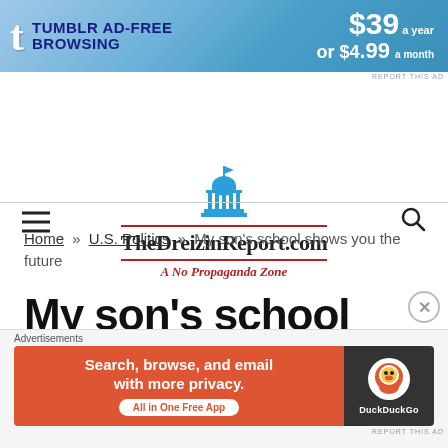[Figure (infographic): Tumblr Ad-Free Browsing banner advertisement: $39 a year or $4.99 a month]
[Figure (logo): TheDreizinReport.com website logo with capitol building dome icon, red double underline, tagline 'A No Propaganda Zone']
Home » U.S. Politics » My son's school shows you the future
My son's school shows you the future
[Figure (infographic): DuckDuckGo advertisement: Search, browse, and email with more privacy. All in One Free App]